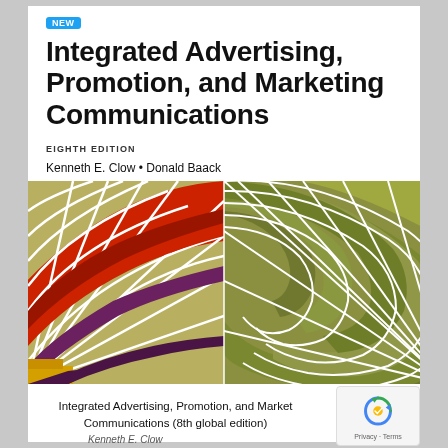Integrated Advertising, Promotion, and Marketing Communications
EIGHTH EDITION
Kenneth E. Clow • Donald Baack
[Figure (photo): Close-up photograph of a colorful mosaic tile pattern featuring two interlocking circular/spiral designs. The left spiral consists of red, dark purple/maroon, and white tiles. The right spiral consists of olive green, yellow-green, and white tiles. The mosaic tiles are arranged in curved, concentric arcs.]
Integrated Advertising, Promotion, and Marketing Communications (8th global edition)
Kenneth E. Clow